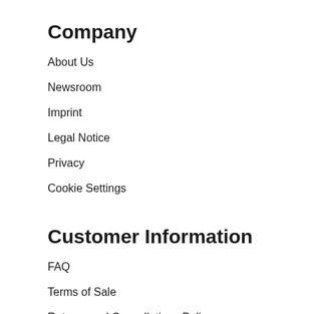Company
About Us
Newsroom
Imprint
Legal Notice
Privacy
Cookie Settings
Customer Information
FAQ
Terms of Sale
Returns and Cancellations Policy